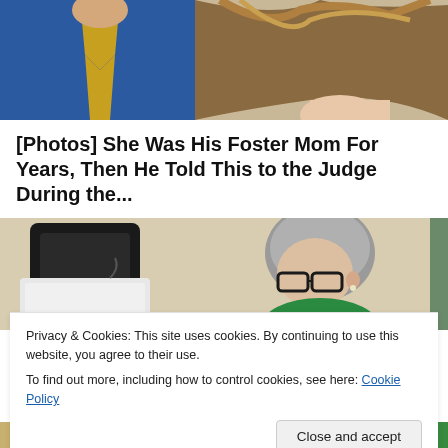[Figure (photo): Top portion of a photo showing two people — one in a blue jersey with gold V-neck design on the left, and a woman with brown hair on the right, cropped at neck/shoulder level.]
[Photos] She Was His Foster Mom For Years, Then He Told This to the Judge During the...
12Up
[Figure (photo): Photo of an elderly woman with short gray hair and black glasses, wearing a green top, leaning forward. On the left side there is a black bag and a white appliance/container.]
Privacy & Cookies: This site uses cookies. By continuing to use this website, you agree to their use.
To find out more, including how to control cookies, see here: Cookie Policy
[Figure (photo): Bottom strip showing a partial photo, appears to be a colorful outdoor scene with green and tan tones.]